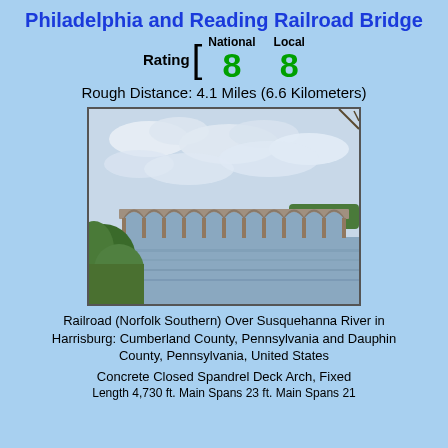Philadelphia and Reading Railroad Bridge
Rating [ National 8  Local 8
Rough Distance: 4.1 Miles (6.6 Kilometers)
[Figure (photo): Photograph of the Philadelphia and Reading Railroad Bridge showing a long concrete arch bridge with multiple arches spanning the Susquehanna River, with green trees and river in foreground and cloudy sky above.]
Railroad (Norfolk Southern) Over Susquehanna River in Harrisburg: Cumberland County, Pennsylvania and Dauphin County, Pennsylvania, United States
Concrete Closed Spandrel Deck Arch, Fixed
Length 4,730 ft. Main Spans 23 ft. Main Spans 21